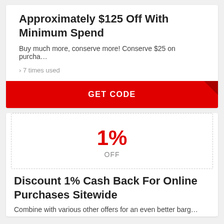Approximately $125 Off With Minimum Spend
Buy much more, conserve more! Conserve $25 on purcha…
› 7 times used
GET CODE
1%
OFF
Discount 1% Cash Back For Online Purchases Sitewide
Combine with various other offers for an even better barg…